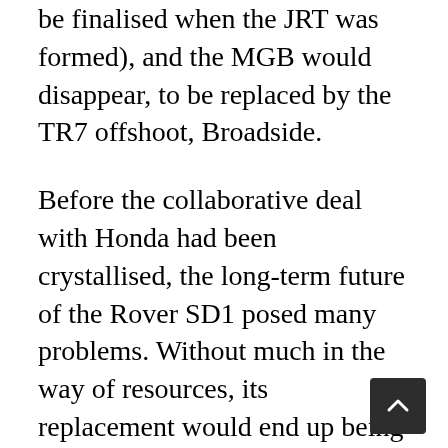be finalised when the JRT was formed), and the MGB would disappear, to be replaced by the TR7 offshoot, Broadside.
Before the collaborative deal with Honda had been crystallised, the long-term future of the Rover SD1 posed many problems. Without much in the way of resources, its replacement would end up being heavily SD1-based, and as that car's roots lay in the early Seventies, its performance in the late-Eighties would probably end up being called into question.
The good news was that Rover-Triumph